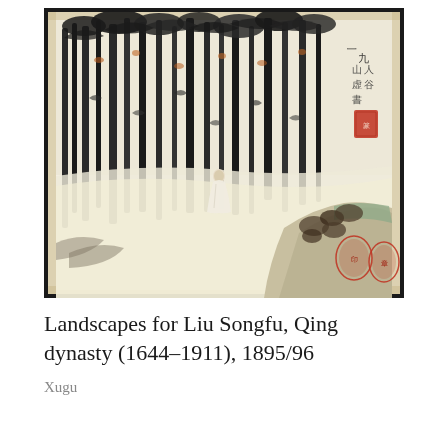[Figure (illustration): Chinese ink painting showing a bamboo forest with tall dark tree trunks in winter, a small solitary figure in white standing in the middle distance, rocky ground and foliage to the lower right, Chinese calligraphy and red seal stamps in the upper right corner.]
Landscapes for Liu Songfu, Qing dynasty (1644–1911), 1895/96
Xugu